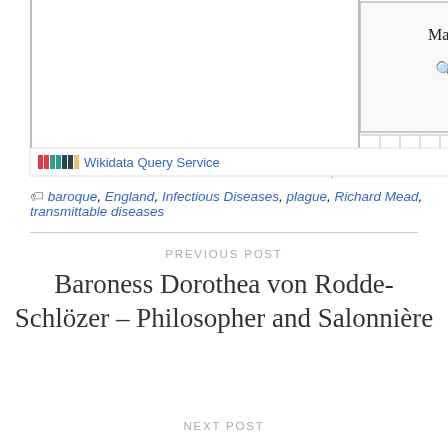[Figure (screenshot): Wikidata Query Service genealogy/network graph showing date nodes: March 3, 1649 / John Floyer, August 11, 172[x] / Richard Brockle[hurst], January 1, 1647 / Frederick Slare, January 1, 172[x] / Anthony Aske[w]. Bottom footer shows Wikidata Query Service logo and text.]
baroque, England, Infectious Diseases, plague, Richard Mead, transmittable diseases
PREVIOUS POST
Baroness Dorothea von Rodde-Schlözer – Philosopher and Salonnière
NEXT POST